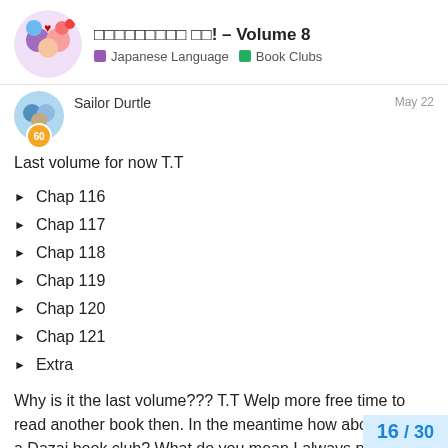□□□□□□□□□ □□! – Volume 8  Japanese Language  Book Clubs
Sailor Durtle  May 22
Last volume for now T.T
Chap 116
Chap 117
Chap 118
Chap 119
Chap 120
Chap 121
Extra
Why is it the last volume??? T.T Welp more free time to read another book then. In the meantime how about we do a Dazai book club? What do you mean I always push it every chance I get? You got no proof.
Thx for the help and sorry for the tons of questions this time around.
16 / 30